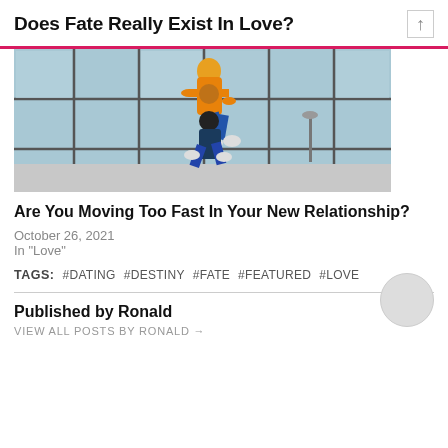Does Fate Really Exist In Love?
[Figure (photo): Two people jumping in front of a glass building facade, one in an orange hoodie and cap, another in dark clothes below, both mid-air.]
Are You Moving Too Fast In Your New Relationship?
October 26, 2021
In "Love"
TAGS:   #DATING   #DESTINY   #FATE   #FEATURED   #LOVE
Published by Ronald
VIEW ALL POSTS BY RONALD →